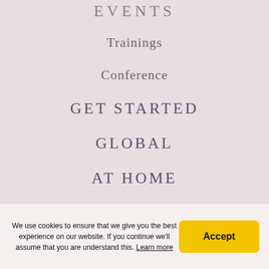EVENTS
Trainings
Conference
GET STARTED
GLOBAL
AT HOME
We use cookies to ensure that we give you the best experience on our website. If you continue we'll assume that you are understand this. Learn more